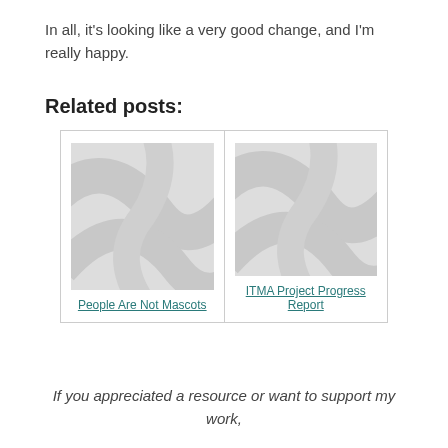In all, it's looking like a very good change, and I'm really happy.
Related posts:
[Figure (illustration): Placeholder image for 'People Are Not Mascots' post]
People Are Not Mascots
[Figure (illustration): Placeholder image for 'ITMA Project Progress Report' post]
ITMA Project Progress Report
If you appreciated a resource or want to support my work,